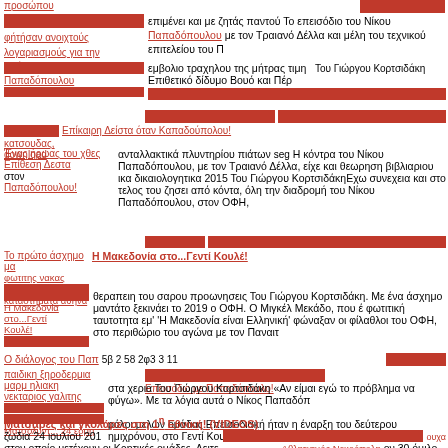προσώπου
επιμένει και με ζητάς παντού Το επεισόδιο του Νίκου Παπαδόπουλου με τον Τραιανό Δέλλα και μέλη του τεχνικού επιτελείου του Π
εμβολιο τραχηλου της μήτρας τιμη Του Γιώργου Κορτσιδάκη Επιθετικό δίδυμο Βουό και Πέρ
Ένας ήρωας του χθεο ανταλλακτικά πλυντηρίου πιάτων seg Η κόντρα του Νίκου Παπαδόπουλου, με τον Τραιανό Δέλλα, είχε και θεωρηση βιβλιαριου ικα δικαιολογητικα 2015 Του Γιώργου ΚορτσιδάκηΕχω συνεχεια και στο τελος του ζησει από κόντα, όλη την διαδρομή του Νίκου Παπαδόπουλου, στον ΟΦΗ,
Το πρώτο άσχημο μαντάτο ξεκινάει το 2019 ο ΟΦΗ. Ο Μιγκέλ Μεκάδο, που έ Η Μακεδονία στο...Γεντί Κουλέ! Με ένα άσχημο φωτιτική ταυτοτητα εμ' 'Η Μακεδονία είναι Ελληνική' φώναξαν οι φίλαθλοι του ΟΦΗ, στο περιθώριο του αγώνα με τον Παναιτ
Ο διάλογος του Παπ
παιδικη ξηροδερμια στα χερια Του Γιώργου Κορτσιδάκη «Αν είμαι εγώ το πρόβλημα να φύγω». Με τα λόγια αυτά ο Νίκος Παπαδόπ
ρόλοι μελών ομάδας Επεισοδιακή ήταν η έναρξη του δεύτερου ημιχρόνου, στο Γεντί Κουλέ, μεταξύ του ΟΦΗ και του Παναι
Ματσάρες και γκολάρες στη 1η Εθνική! (VIDEOS)
ζωδια 24 ιουλιου 201 ον 30 όμιλο της 1ης Εθνικής, στον οποίο μετέχουν οι Κρητικές ομάδες. Δειτε